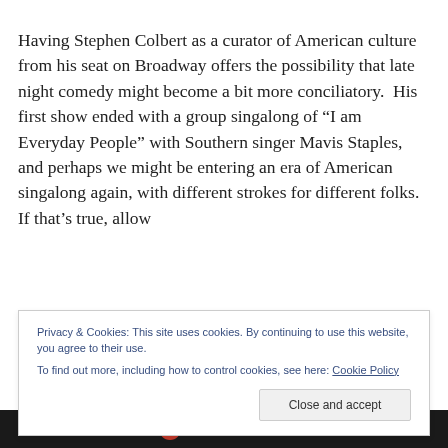Having Stephen Colbert as a curator of American culture from his seat on Broadway offers the possibility that late night comedy might become a bit more conciliatory.  His first show ended with a group singalong of “I am Everyday People” with Southern singer Mavis Staples, and perhaps we might be entering an era of American singalong again, with different strokes for different folks.  If that’s true, allow
Privacy & Cookies: This site uses cookies. By continuing to use this website, you agree to their use.
To find out more, including how to control cookies, see here: Cookie Policy
[Figure (logo): Longreads logo: red circle with L, followed by LONGREADS text in white on dark background bar]